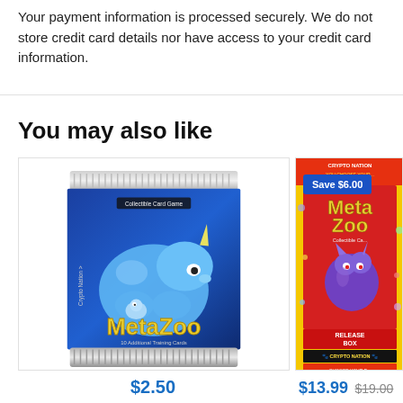Your payment information is processed securely. We do not store credit card details nor have access to your credit card information.
You may also like
[Figure (photo): MetaZoo Collectible Card Game booster pack with a blue rhinoceros-like creature illustration. Blue foil pack with yellow MetaZoo logo text and silver top/bottom edges.]
$2.50
[Figure (photo): MetaZoo Crypto Nation Release Event Box with red and yellow packaging, featuring a purple creature. 'Save $6.00' badge overlay.]
$13.99  $19.00